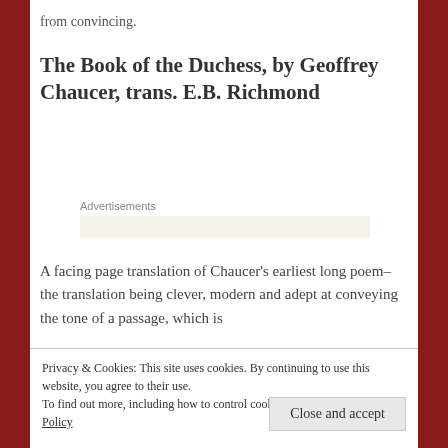from convincing.
The Book of the Duchess, by Geoffrey Chaucer, trans. E.B. Richmond
[Figure (other): Advertisements placeholder block with beige/cream background]
A facing page translation of Chaucer's earliest long poem–the translation being clever, modern and adept at conveying the tone of a passage, which is
Privacy & Cookies: This site uses cookies. By continuing to use this website, you agree to their use.
To find out more, including how to control cookies, see here: Cookie Policy
already here in his gifts for natural description,